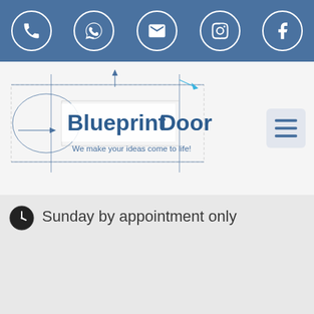Blueprint Doors - We make your ideas come to life!
[Figure (logo): Blueprint Doors logo with blueprint-style technical drawing background, text 'Blueprint Doors' and tagline 'We make your ideas come to life!']
Sunday by appointment only